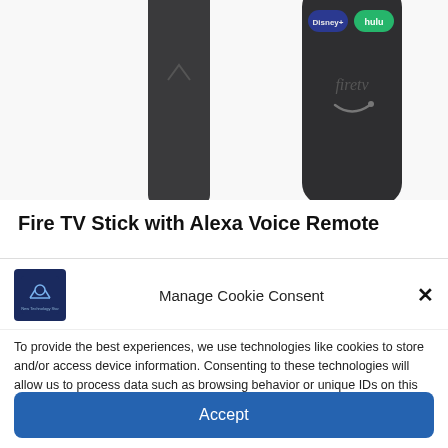[Figure (photo): Amazon Fire TV Stick device and Alexa Voice Remote with Disney+ and Hulu buttons, firetv logo visible on remote]
Fire TV Stick with Alexa Voice Remote
[Figure (screenshot): Manage Cookie Consent dialog box with logo, close button, consent text, and Accept button]
To provide the best experiences, we use technologies like cookies to store and/or access device information. Consenting to these technologies will allow us to process data such as browsing behavior or unique IDs on this site. Not consenting or withdrawing consent, may adversely affect certain features and functions.